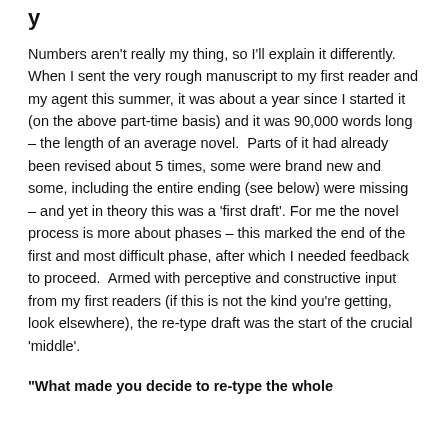y
Numbers aren't really my thing, so I'll explain it differently. When I sent the very rough manuscript to my first reader and my agent this summer, it was about a year since I started it (on the above part-time basis) and it was 90,000 words long – the length of an average novel. Parts of it had already been revised about 5 times, some were brand new and some, including the entire ending (see below) were missing – and yet in theory this was a 'first draft'. For me the novel process is more about phases – this marked the end of the first and most difficult phase, after which I needed feedback to proceed. Armed with perceptive and constructive input from my first readers (if this is not the kind you're getting, look elsewhere), the re-type draft was the start of the crucial 'middle'.
“What made you decide to re-type the whole